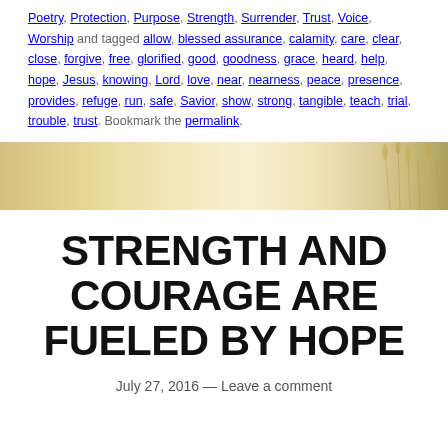Poetry, Protection, Purpose, Strength, Surrender, Trust, Voice, Worship and tagged allow, blessed assurance, calamity, care, clear, close, forgive, free, glorified, good, goodness, grace, heard, help, hope, Jesus, knowing, Lord, love, near, nearness, peace, presence, provides, refuge, run, safe, Savior, show, strong, tangible, teach, trial, trouble, trust. Bookmark the permalink.
[Figure (photo): A soft golden field background image with warm light and tall grass on the right side]
STRENGTH AND COURAGE ARE FUELED BY HOPE
July 27, 2016 — Leave a comment